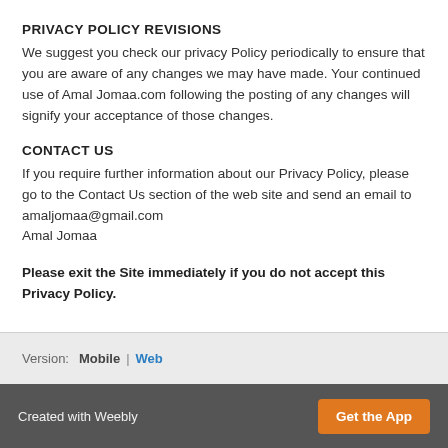PRIVACY POLICY REVISIONS
We suggest you check our privacy Policy periodically to ensure that you are aware of any changes we may have made. Your continued use of Amal Jomaa.com following the posting of any changes will signify your acceptance of those changes.
CONTACT US
If you require further information about our Privacy Policy, please go to the Contact Us section of the web site and send an email to amaljomaa@gmail.com
Amal Jomaa
Please exit the Site immediately if you do not accept this Privacy Policy.
Version: Mobile | Web
Created with Weebly  Get the App